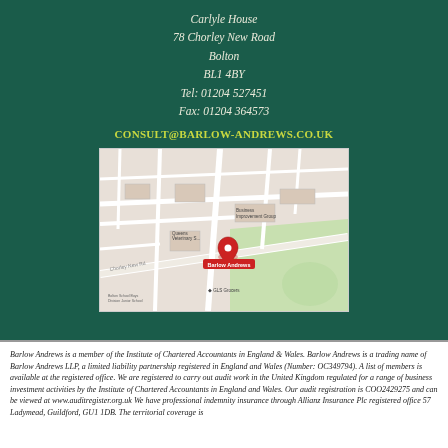Carlyle House
78 Chorley New Road
Bolton
BL1 4BY
Tel: 01204 527451
Fax: 01204 364573
CONSULT@BARLOW-ANDREWS.CO.UK
[Figure (map): Street map showing location of Barlow Andrews at 78 Chorley New Road, Bolton, with a red map pin marker labeled 'Barlow Andrews']
Barlow Andrews is a member of the Institute of Chartered Accountants in England & Wales. Barlow Andrews is a trading name of Barlow Andrews LLP, a limited liability partnership registered in England and Wales (Number: OC349794). A list of members is available at the registered office. We are registered to carry out audit work in the United Kingdom regulated for a range of business investment activities by the Institute of Chartered Accountants in England and Wales. Our audit registration is COO2429275 and can be viewed at www.auditregister.org.uk We have professional indemnity insurance through Allianz Insurance Plc registered office 57 Ladymead, Guildford, GU1 1DB. The territorial coverage is